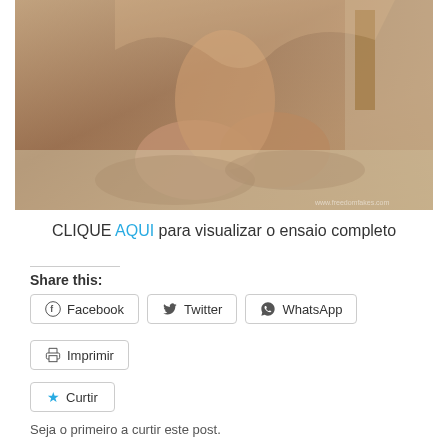[Figure (photo): Close-up photo of a woman's legs/lower body sitting on a bed, wearing black high heels]
CLIQUE AQUI para visualizar o ensaio completo
Share this:
Facebook
Twitter
WhatsApp
Imprimir
Curtir
Seja o primeiro a curtir este post.